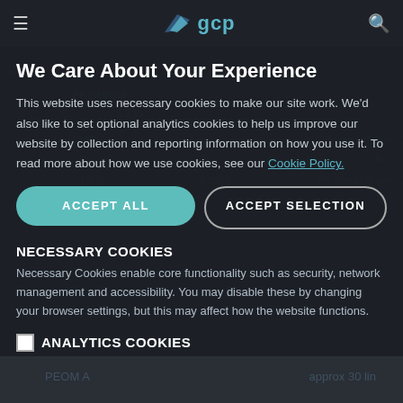GCP Applied Technologies navigation bar with hamburger menu, GCP logo, and search icon
We Care About Your Experience
This website uses necessary cookies to make our site work. We'd also like to set optional analytics cookies to help us improve our website by collection and reporting information on how you use it. To read more about how we use cookies, see our Cookie Policy.
ACCEPT ALL
ACCEPT SELECTION
NECESSARY COOKIES
Necessary Cookies enable core functionality such as security, network management and accessibility. You may disable these by changing your browser settings, but this may affect how the website functions.
ANALYTICS COOKIES
We won't set optional cookies unless you enable them. Using this tool will set a cookie on your device to remember your preferences.